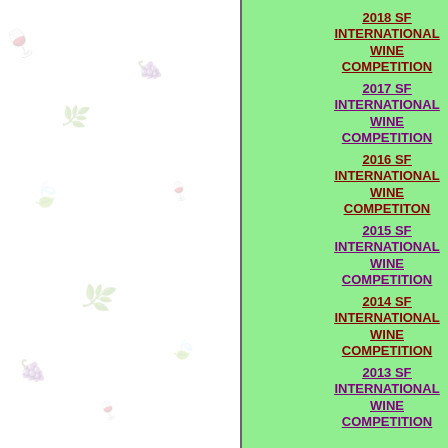2018 SF INTERNATIONAL WINE COMPETITION
2017 SF INTERNATIONAL WINE COMPETITION
2016 SF INTERNATIONAL WINE COMPETITON
2015 SF INTERNATIONAL WINE COMPETITION
2014 SF INTERNATIONAL WINE COMPETITION
2013 SF INTERNATIONAL WINE COMPETITION
Send us a n...
These would be c...
THE VINC
(A private tasting... years!)
WASHINGTON ST... 2022
MOSTLY NAPA CA...
ITALIAN PINOT N... 2022
MORE 2018 BORD...
ETNA ROSSO WI...
MOSTLY GEORGI...
THE HOLIDAY WI...